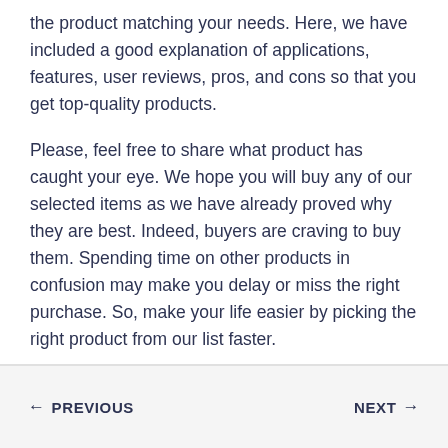the product matching your needs. Here, we have included a good explanation of applications, features, user reviews, pros, and cons so that you get top-quality products.
Please, feel free to share what product has caught your eye. We hope you will buy any of our selected items as we have already proved why they are best. Indeed, buyers are craving to buy them. Spending time on other products in confusion may make you delay or miss the right purchase. So, make your life easier by picking the right product from our list faster.
← PREVIOUS    NEXT →